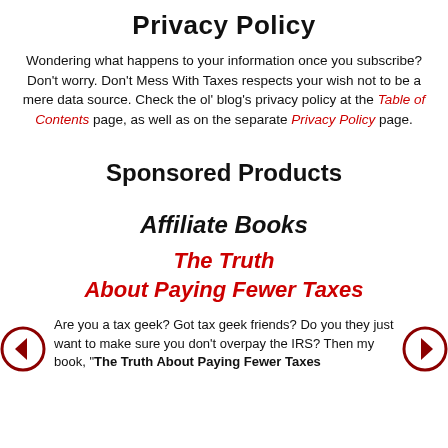Privacy Policy
Wondering what happens to your information once you subscribe? Don't worry. Don't Mess With Taxes respects your wish not to be a mere data source. Check the ol' blog's privacy policy at the Table of Contents page, as well as on the separate Privacy Policy page.
Sponsored Products
Affiliate Books
The Truth About Paying Fewer Taxes
Are you a tax geek? Got tax geek friends? Do you they just want to make sure you don't overpay the IRS? Then my book, "The Truth About Paying Fewer Taxes" is for all y'all.